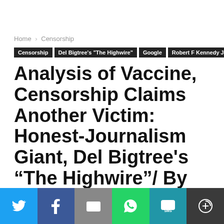Home › Censorship
Censorship
Del Bigtree's "The Highwire"
Google
Robert F Kennedy Jr.
Analysis of Vaccine, Censorship Claims Another Victim: Honest-Journalism Giant, Del Bigtree's “The Highwire”/ By Robert F. Kennedy Jr, Global Research, August 19, 2020/
[Figure (infographic): Social share bar with Twitter, Facebook, Email, WhatsApp, SMS, and More buttons]